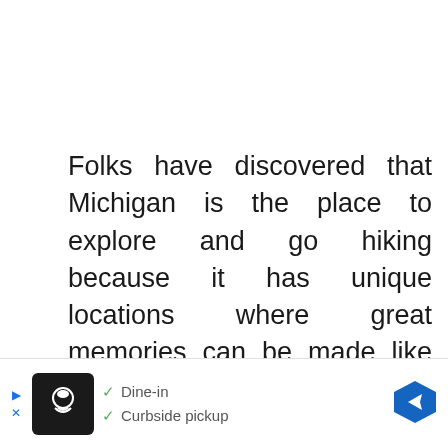Folks have discovered that Michigan is the place to explore and go hiking because it has unique locations where great memories can be made like nowhere else in the country. So whether planning for an individual, group, or family hike, Michigan should be the first place that should be considered. Hiking should relax the mind
[Figure (other): Advertisement banner at bottom of page showing a restaurant/food service ad with a cartoon chef icon, checkmarks for Dine-in and Curbside pickup options, and a blue navigation arrow icon on the right. Small ad indicators (triangle and X) on the left.]